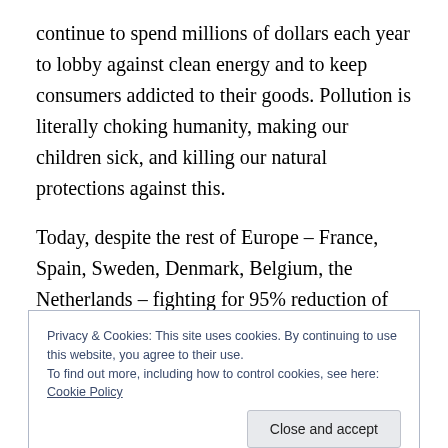continue to spend millions of dollars each year to lobby against clean energy and to keep consumers addicted to their goods. Pollution is literally choking humanity, making our children sick, and killing our natural protections against this.
Today, despite the rest of Europe – France, Spain, Sweden, Denmark, Belgium, the Netherlands – fighting for 95% reduction of emissions by 2050, Italy, Hungary, Poland, and Germany rejected the motion. Reducing pollution and promoting sustainability is not in the interests
Privacy & Cookies: This site uses cookies. By continuing to use this website, you agree to their use.
To find out more, including how to control cookies, see here: Cookie Policy
Close and accept
means that we humans will then die after much suffering.